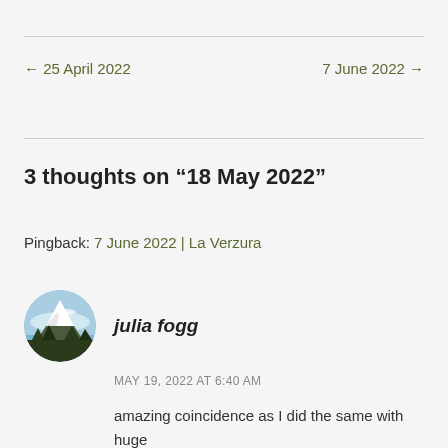← 25 April 2022   7 June 2022 →
3 thoughts on “18 May 2022”
Pingback: 7 June 2022 | La Verzura
julia fogg
MAY 19, 2022 AT 6:40 AM
amazing coincidence as I did the same with huge ,in my eyes, pile of stripped turves which managed after many hours to fill raised beds in